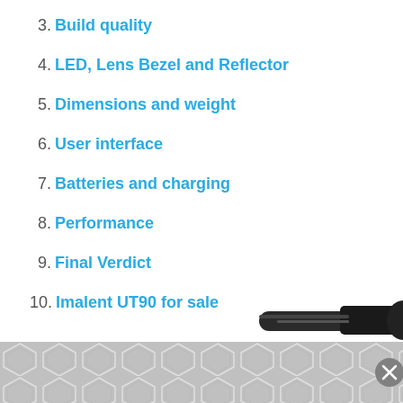3. Build quality
4. LED, Lens Bezel and Reflector
5. Dimensions and weight
6. User interface
7. Batteries and charging
8. Performance
9. Final Verdict
10. Imalent UT90 for sale
[Figure (photo): Partial view of a black flashlight (Imalent UT90) at the bottom right of the page, with a grey geometric pattern advertisement banner below it.]